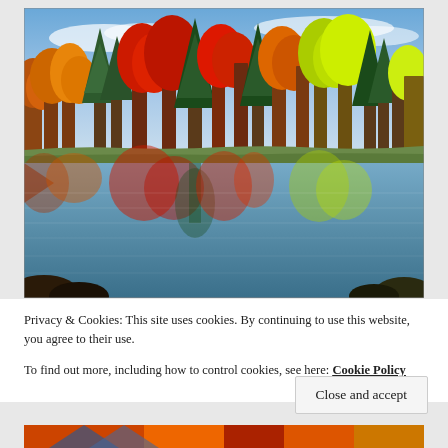[Figure (photo): Autumn foliage reflected in a calm lake. Colorful red, orange, yellow, and green trees line the far shore, with their mirror reflections visible in the still water below. Blue sky with wispy clouds above.]
Privacy & Cookies: This site uses cookies. By continuing to use this website, you agree to their use.
To find out more, including how to control cookies, see here: Cookie Policy
[Figure (photo): Bottom portion of another autumn foliage photo, partially visible, showing colorful fall trees.]